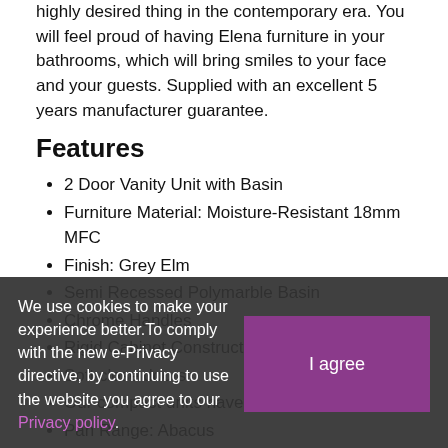highly desired thing in the contemporary era. You will feel proud of having Elena furniture in your bathrooms, which will bring smiles to your face and your guests. Supplied with an excellent 5 years manufacturer guarantee.
Features
2 Door Vanity Unit with Basin
Furniture Material: Moisture-Resistant 18mm MFC
Finish: Grey Elm
Semi Recessed Polymarble Basin
Chrome Handles
Rigid Cabinet Construction
Soft close doors
Our compact units have a thinner depth
Pan Range: Abacus
High Gloss White Finish
Rimless Technology: Hygienic & Powerful Flush Systems
Manufactured from high quality vitreous china
Quick Release Slim Soft Close Seat Included
We use cookies to make your experience better. To comply with the new e-Privacy directive, by continuing to use the website you agree to our Privacy policy.